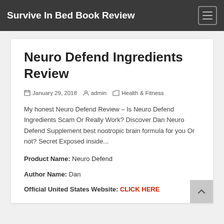Survive In Bed Book Review
Neuro Defend Ingredients Review
January 29, 2018   admin   Health & Fitness
My honest Neuro Defend Review – Is Neuro Defend Ingredients Scam Or Really Work? Discover Dan Neuro Defend Supplement best nootropic brain formula for you Or not? Secret Exposed inside...
Product Name: Neuro Defend
Author Name: Dan
Official United States Website: CLICK HERE